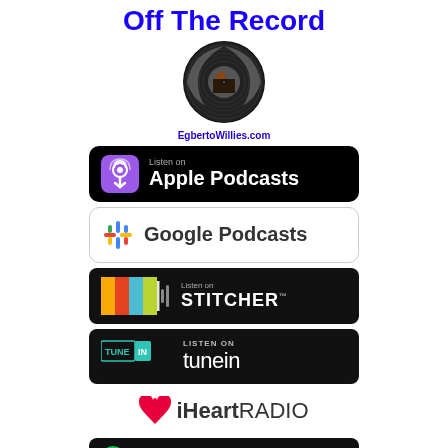Off The Record
[Figure (illustration): Circular vinyl record logo with a person image in the center]
EgbertoWillies.com
[Figure (logo): Listen on Apple Podcasts badge - black rounded rectangle]
[Figure (logo): Google Podcasts badge - white rounded rectangle with border]
[Figure (logo): Listen on Stitcher badge - black with colorful bars logo]
[Figure (logo): Listen on TuneIn badge - black with TuneIn logo]
[Figure (logo): iHeartRADIO badge - white background with heart icon]
[Figure (logo): Spotify listen badge - black rounded rectangle, partially visible]